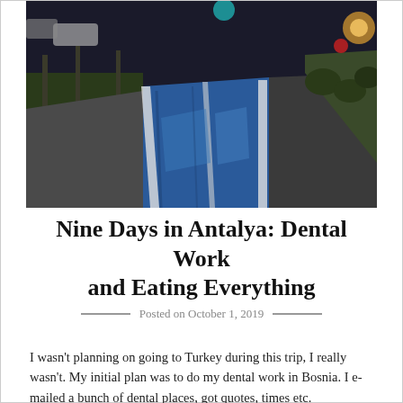[Figure (photo): Street-level photo of a blue bicycle/pedestrian lane running along a road at dusk, with trees and shrubs on either side and city lights in the background.]
Nine Days in Antalya: Dental Work and Eating Everything
Posted on October 1, 2019
I wasn't planning on going to Turkey during this trip, I really wasn't. My initial plan was to do my dental work in Bosnia. I e-mailed a bunch of dental places, got quotes, times etc.